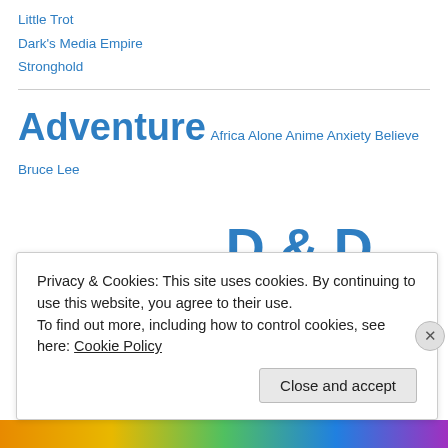Little Trot
Dark's Media Empire
Stronghold
[Figure (infographic): Tag cloud featuring various topics including Adventure, Africa, Alone, Anime, Anxiety, Believe, Bruce Lee, Chester Bennington, Christmas, Coldplay, D & D, D & D 5e, David Bowie, Disney, dragon, dragons, Dream, Drow, Dungeons And Dragons, Dungeons And Dragons 5e, Elves, and more, in varying font sizes and all in blue color.]
Privacy & Cookies: This site uses cookies. By continuing to use this website, you agree to their use. To find out more, including how to control cookies, see here: Cookie Policy
Close and accept